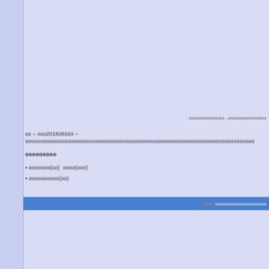oooooooooooo ,ooooooooooooo
oo – ooo2016ö6ö2ö – oooooooooooooooooooooooooooooooooooooooooooooooooooooooooooooooooo
ooooooooo
• ooooooo(oo) oooo(ooo)
• oooooooooo(oo)
ooo: oooooooooooooooooo